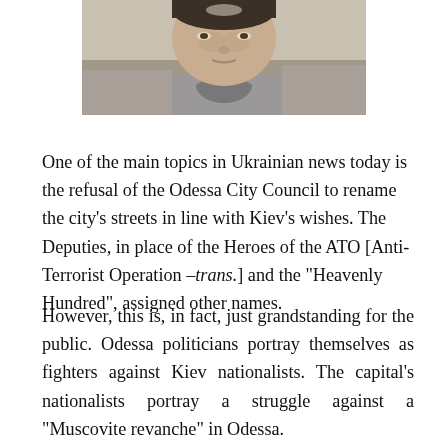[Figure (photo): Close-up photograph of a man wearing a grey collared shirt over a grey t-shirt, looking slightly upward, outdoors background.]
One of the main topics in Ukrainian news today is the refusal of the Odessa City Council to rename the city’s streets in line with Kiev’s wishes. The Deputies, in place of the Heroes of the ATO [Anti-Terrorist Operation –trans.] and the “Heavenly Hundred”, assigned other names.
However, this is, in fact, just grandstanding for the public. Odessa politicians portray themselves as fighters against Kiev nationalists. The capital’s nationalists portray a struggle against a “Muscovite revanche” in Odessa.